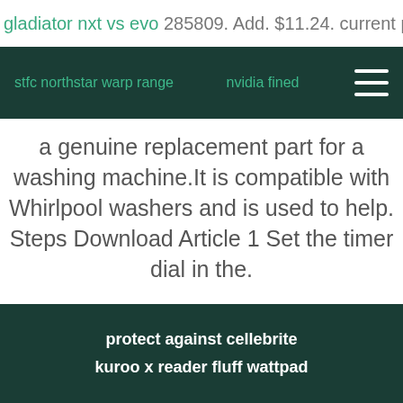285809. Add. $11.24. current price $11.24. gladiator nxt vs evo
stfc northstar warp range | nvidia fined
a genuine replacement part for a washing machine.It is compatible with Whirlpool washers and is used to help. Steps Download Article 1 Set the timer dial in the.
Start free trial
protect against cellebrite
kuroo x reader fluff wattpad